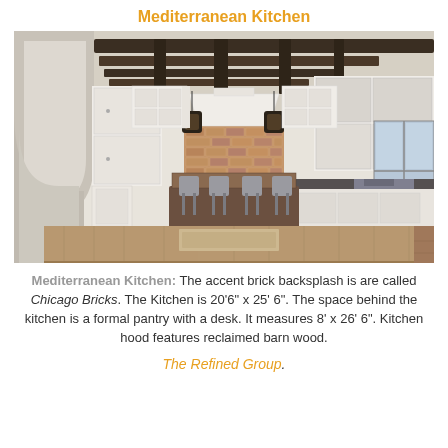Mediterranean Kitchen
[Figure (photo): Interior photograph of a large Mediterranean-style kitchen with white cabinetry, dark exposed wood beam ceiling, brick backsplash around the range hood, a large dark wood kitchen island with bar stools, terracotta tile floor, pendant lantern lights, and a reclaimed wood farmhouse table in the foreground. An arched opening is visible on the left.]
Mediterranean Kitchen: The accent brick backsplash is are called Chicago Bricks. The Kitchen is 20'6" x 25' 6". The space behind the kitchen is a formal pantry with a desk. It measures 8' x 26' 6". Kitchen hood features reclaimed barn wood.
The Refined Group.